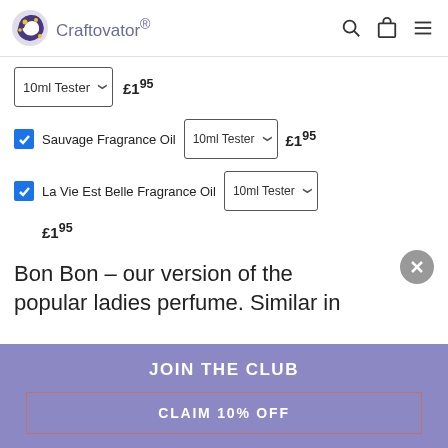Craftovator
10ml Tester  £1.95
Sauvage Fragrance Oil  10ml Tester  £1.95
La Vie Est Belle Fragrance Oil  10ml Tester  £1.95
Bon Bon – our version of the popular ladies perfume. Similar in
JOIN THE CLUB
CLAIM 10% OFF